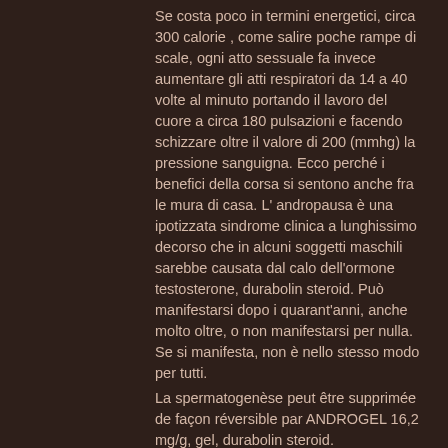Se costa poco in termini energetici, circa 300 calorie , come salire poche rampe di scale, ogni atto sessuale fa invece aumentare gli atti respiratori da 14 a 40 volte al minuto portando il lavoro del cuore a circa 180 pulsazioni e facendo schizzare oltre il valore di 200 (mmhg) la pressione sanguigna. Ecco perch&eacute; i benefici della corsa si sentono anche fra le mura di casa. L'andropausa è una ipotizzata sindrome clinica a lunghissimo decorso che in alcuni soggetti maschili sarebbe causata dal calo dell'ormone testosterone, durabolin steroid. Può manifestarsi dopo i quarant'anni, anche molto oltre, o non manifestarsi per nulla. Se si manifesta, non è nello stesso modo per tutti.
La spermatogenèse peut être supprimée de façon réversible par ANDROGEL 16,2 mg/g, gel, durabolin steroid.
On peut aussi se tenir à lécart de certains stéroïdes qui aromatisent ou stimulent...